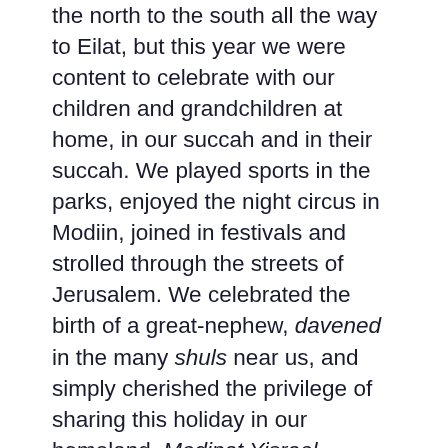the north to the south all the way to Eilat, but this year we were content to celebrate with our children and grandchildren at home, in our succah and in their succah. We played sports in the parks, enjoyed the night circus in Modiin, joined in festivals and strolled through the streets of Jerusalem. We celebrated the birth of a great-nephew, davened in the many shuls near us, and simply cherished the privilege of sharing this holiday in our homeland, Medinat Yisrael.
The week ends on Shmini Atzeret/Simchat Torah, the holiday when we complete the cycle of reading the entire Torah. It is customary to serve Stuffed Cabbage on this holiday, and my mother has been preparing this dish since I can remember, including today. In the States I